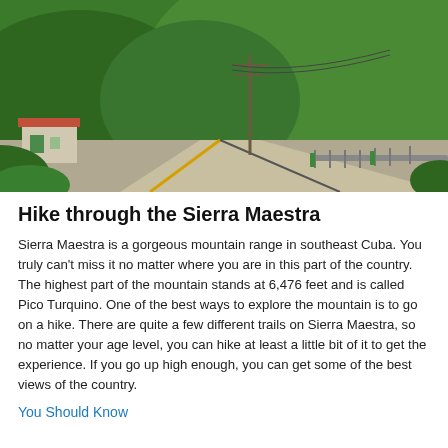[Figure (photo): A road through the Sierra Maestra mountain range in southeast Cuba, with lush green hills, a small house on the left, utility poles, and a bright blue sky with clouds.]
Hike through the Sierra Maestra
Sierra Maestra is a gorgeous mountain range in southeast Cuba. You truly can't miss it no matter where you are in this part of the country. The highest part of the mountain stands at 6,476 feet and is called Pico Turquino. One of the best ways to explore the mountain is to go on a hike. There are quite a few different trails on Sierra Maestra, so no matter your age level, you can hike at least a little bit of it to get the experience. If you go up high enough, you can get some of the best views of the country.
You Should Know